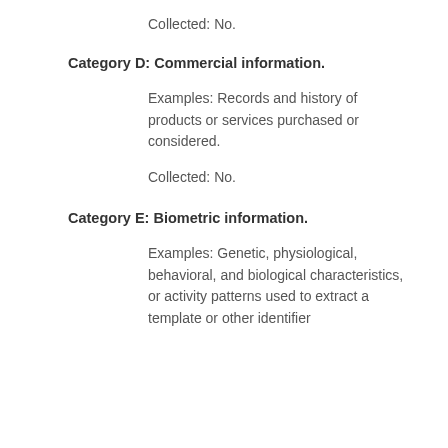Collected: No.
Category D: Commercial information.
Examples: Records and history of products or services purchased or considered.
Collected: No.
Category E: Biometric information.
Examples: Genetic, physiological, behavioral, and biological characteristics, or activity patterns used to extract a template or other identifier